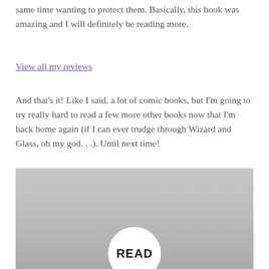same time wanting to protect them. Basically, this book was amazing and I will definitely be reading more.
View all my reviews
And that's it! Like I said, a lot of comic books, but I'm going to try really hard to read a few more other books now that I'm back home again (if I can ever trudge through Wizard and Glass, oh my god. . .). Until next time!
[Figure (photo): A photograph showing a round white button/badge with the word READ in bold black text, placed on a grey surface.]